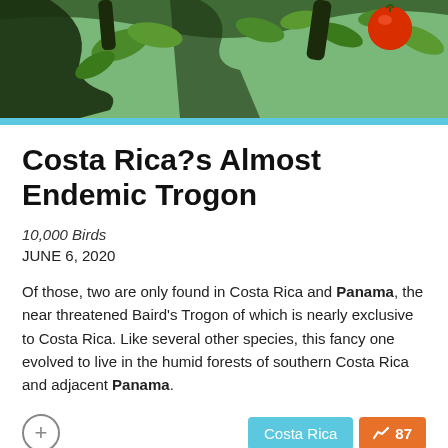[Figure (photo): Photo of tree branches with green leaves and a red fruit/berry, top of article card]
Costa Rica?s Almost Endemic Trogon
10,000 Birds
JUNE 6, 2020
Of those, two are only found in Costa Rica and Panama, the near threatened Baird's Trogon of which is nearly exclusive to Costa Rica. Like several other species, this fancy one evolved to live in the humid forests of southern Costa Rica and adjacent Panama.
[Figure (photo): Photo of a hand holding or touching what appears to be a wallet or leather item with currency]